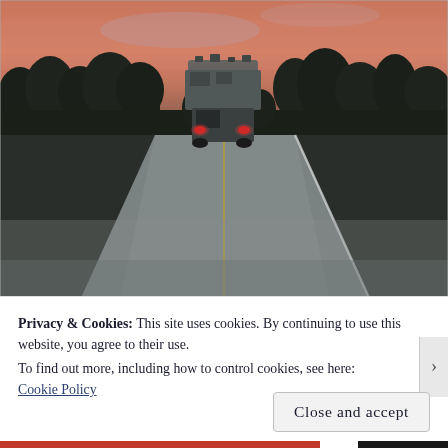[Figure (photo): A vehicle towing an RV or camper driving away on a two-lane highway at dusk/sunset. The road is flanked by dense dark trees on both sides. The sky is a warm pink/orange hue. The vehicle has red tail lights visible.]
Privacy & Cookies: This site uses cookies. By continuing to use this website, you agree to their use.
To find out more, including how to control cookies, see here: Cookie Policy
Close and accept